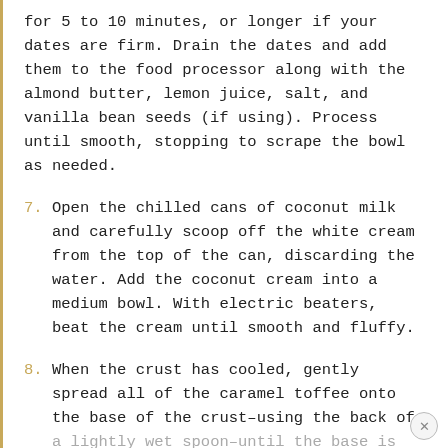for 5 to 10 minutes, or longer if your dates are firm. Drain the dates and add them to the food processor along with the almond butter, lemon juice, salt, and vanilla bean seeds (if using). Process until smooth, stopping to scrape the bowl as needed.
7. Open the chilled cans of coconut milk and carefully scoop off the white cream from the top of the can, discarding the water. Add the coconut cream into a medium bowl. With electric beaters, beat the cream until smooth and fluffy.
8. When the crust has cooled, gently spread all of the caramel toffee onto the base of the crust–using the back of a lightly wet spoon–until the base is covered. Slice all of the bananas. Place half of the banana slices on top of the